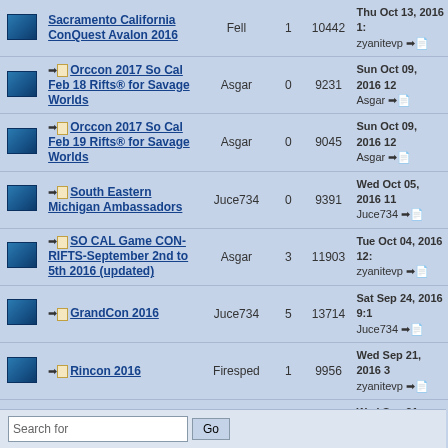|  | Topic | Author | Replies | Views | Last Post |
| --- | --- | --- | --- | --- | --- |
|  | Sacramento California ConQuest Avalon 2016 | Fell | 1 | 10442 | Thu Oct 13, 2016 1:... zyanitevp →□ |
|  | →□ Orccon 2017 So Cal Feb 18 Rifts® for Savage Worlds | Asgar | 0 | 9231 | Sun Oct 09, 2016 12 Asgar →□ |
|  | →□ Orccon 2017 So Cal Feb 19 Rifts® for Savage Worlds | Asgar | 0 | 9045 | Sun Oct 09, 2016 12 Asgar →□ |
|  | →□ South Eastern Michigan Ambassadors | Juce734 | 0 | 9391 | Wed Oct 05, 2016 11 Juce734 →□ |
|  | →□ SO CAL Game CON-RIFTS-September 2nd to 5th 2016 (updated) | Asgar | 3 | 11903 | Tue Oct 04, 2016 12: zyanitevp →□ |
|  | →□ GrandCon 2016 | Juce734 | 5 | 13714 | Sat Sep 24, 2016 9:1 Juce734 →□ |
|  | →□ Rincon 2016 | Firesped | 1 | 9956 | Wed Sep 21, 2016 3 zyanitevp →□ |
|  | →□ Griffcon40 | Reagren Wright | 2 | 10827 | Wed Sep 21, 2016 3 zyanitevp →□ |
Search for   Go